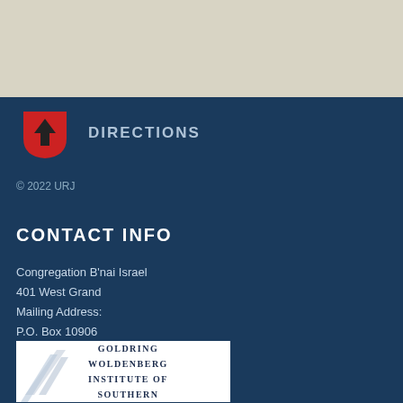[Figure (other): Top beige/cream colored bar background]
[Figure (logo): Red shield with upward arrow icon used for Directions button]
DIRECTIONS
© 2022 URJ
CONTACT INFO
Congregation B'nai Israel
401 West Grand
Mailing Address:
P.O. Box 10906
Jackson, TN 38308
bnai.israel.jackson@gmail.com
[Figure (logo): Goldring Woldenberg Institute of Southern Jewish Life logo with geometric blue/silver design on white background, text reads GOLDRING WOLDENBERG INSTITUTE OF SOUTHERN]